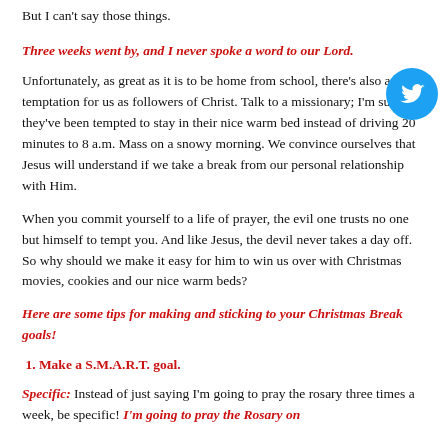But I can't say those things.
Three weeks went by, and I never spoke a word to our Lord.
Unfortunately, as great as it is to be home from school, there's also a great temptation for us as followers of Christ. Talk to a missionary; I'm sure they've been tempted to stay in their nice warm bed instead of driving 20 minutes to 8 a.m. Mass on a snowy morning. We convince ourselves that Jesus will understand if we take a break from our personal relationship with Him.
When you commit yourself to a life of prayer, the evil one trusts no one but himself to tempt you. And like Jesus, the devil never takes a day off. So why should we make it easy for him to win us over with Christmas movies, cookies and our nice warm beds?
Here are some tips for making and sticking to your Christmas Break goals!
1. Make a S.M.A.R.T. goal.
Specific: Instead of just saying I'm going to pray the rosary three times a week, be specific! I'm going to pray the Rosary on